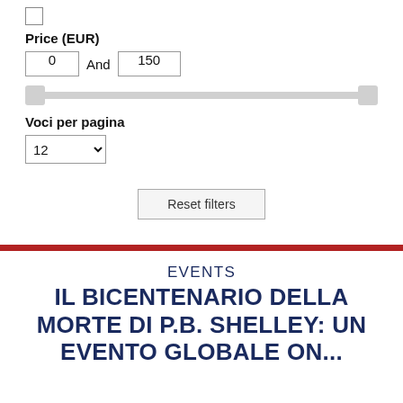Price (EUR)
0  And  150
Voci per pagina
12
Reset filters
EVENTS
IL BICENTENARIO DELLA MORTE DI P.B. SHELLEY: UN EVENTO GLOBALE ON...